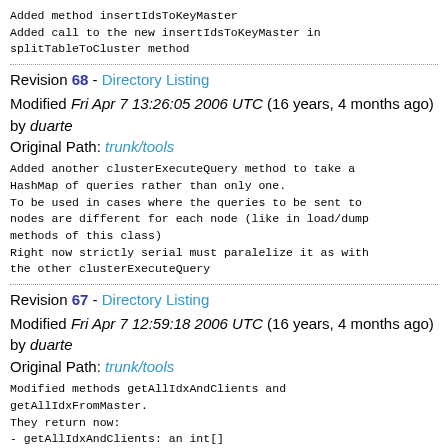Added method insertIdsToKeyMaster
Added call to the new insertIdsToKeyMaster in splitTableToCluster method
Revision 68 - Directory Listing
Modified Fri Apr 7 13:26:05 2006 UTC (16 years, 4 months ago) by duarte
Original Path: trunk/tools
Added another clusterExecuteQuery method to take a HashMap of queries rather than only one.
To be used in cases where the queries to be sent to nodes are different for each node (like in load/dump methods of this class)
Right now strictly serial must paralelize it as with the other clusterExecuteQuery
Revision 67 - Directory Listing
Modified Fri Apr 7 12:59:18 2006 UTC (16 years, 4 months ago) by duarte
Original Path: trunk/tools
Modified methods getAllIdxAndClients and getAllIdxFromMaster.
They return now:
- getAllIdxAndClients: an int[]
- getAllIdxFromMaster: a HashMap<Integer,String>
Got rid of having ResultSets returned which is very messy and dangerous